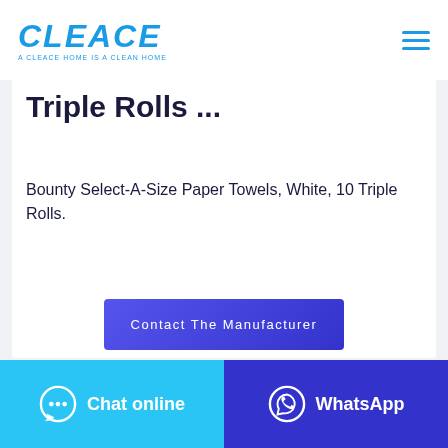[Figure (logo): CLEACE logo in bold italic blue text with tagline 'A CLEACE HOME IS A CLEAN HOME']
Triple Rolls ...
Bounty Select-A-Size Paper Towels, White, 10 Triple Rolls.
Contact The Manufacturer
Chat online   WhatsApp